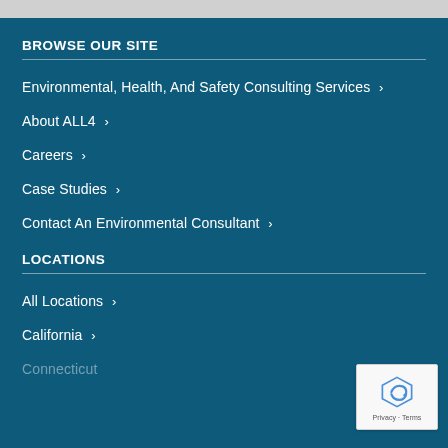BROWSE OUR SITE
Environmental, Health, And Safety Consulting Services >
About ALL4 >
Careers >
Case Studies >
Contact An Environmental Consultant >
LOCATIONS
All Locations >
California >
Connecticut >